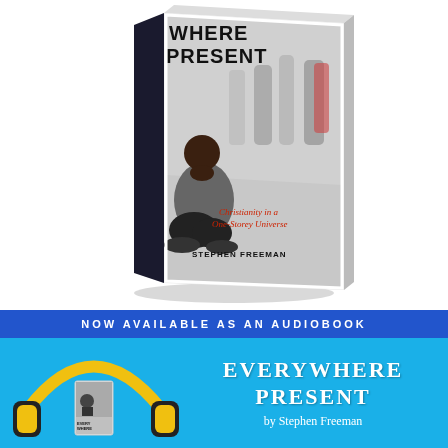[Figure (photo): 3D rendered book cover of 'Everywhere Present: Christianity in a One-Storey Universe' by Stephen Freeman. Cover shows a man crouching/kneeling in prayer in a busy street with blurred people walking past. The subtitle 'Christianity in a One-Storey Universe' appears in red italic text. Author name 'STEPHEN FREEMAN' in bold at bottom.]
[Figure (photo): Audiobook advertisement banner. Top bar in dark blue reads 'NOW AVAILABLE AS AN AUDIOBOOK' in white spaced capitals. Lower section in sky blue shows headphones with book cover on left, and text 'EVERYWHERE PRESENT' in large white serif letters with 'by Stephen Freeman' below on the right.]